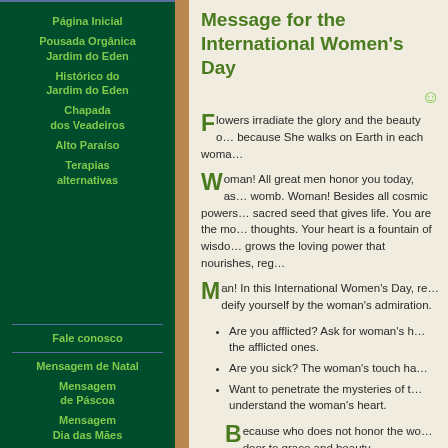Página Inicial
Pousada Orgânica Jardim do Eden
Histórico do Jardim do Eden
Chapada dos Veadeiros
Alto Paraíso
Terapias alternativas
Fale conosco
Mensagem de Natal
Mensagem de Páscoa
Mensagem Dia das Mães
Message for the International Women's Day
Flowers irradiate the glory and the beauty of because She walks on Earth in each woma...
Woman! All great men honor you today, as... womb. Woman! Besides all cosmic powers... sacred seed that gives life. You are the mo... thoughts. Your heart is a fountain of wisdo... grows the loving power that nourishes, reg...
Man! In this International Women's Day, re... deify yourself by the woman's admiration.
Are you afflicted? Ask for woman's h... the afflicted ones.
Are you sick? The woman's touch ha...
Want to penetrate the mysteries of t... understand the woman's heart.
Because who does not honor the wo... door to grace and beauty.